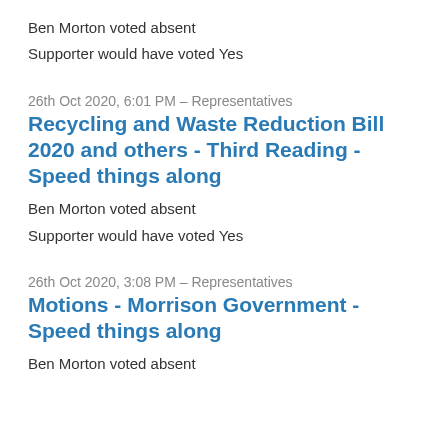Ben Morton voted absent
Supporter would have voted Yes
26th Oct 2020, 6:01 PM – Representatives
Recycling and Waste Reduction Bill 2020 and others - Third Reading - Speed things along
Ben Morton voted absent
Supporter would have voted Yes
26th Oct 2020, 3:08 PM – Representatives
Motions - Morrison Government - Speed things along
Ben Morton voted absent